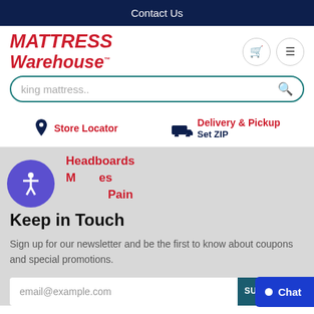Contact Us
[Figure (logo): Mattress Warehouse logo in red italic bold text]
king mattress..
Store Locator
Delivery & Pickup Set ZIP
Headboards
Mattresses
Sleep Pain
Keep in Touch
Sign up for our newsletter and be the first to know about coupons and special promotions.
email@example.com
Subscribe
Chat